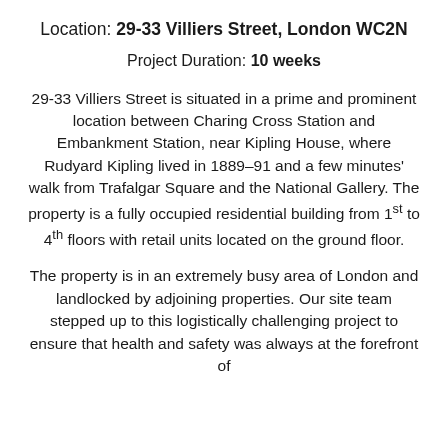Location: 29-33 Villiers Street, London WC2N
Project Duration: 10 weeks
29-33 Villiers Street is situated in a prime and prominent location between Charing Cross Station and Embankment Station, near Kipling House, where Rudyard Kipling lived in 1889–91 and a few minutes' walk from Trafalgar Square and the National Gallery. The property is a fully occupied residential building from 1st to 4th floors with retail units located on the ground floor.
The property is in an extremely busy area of London and landlocked by adjoining properties. Our site team stepped up to this logistically challenging project to ensure that health and safety was always at the forefront of